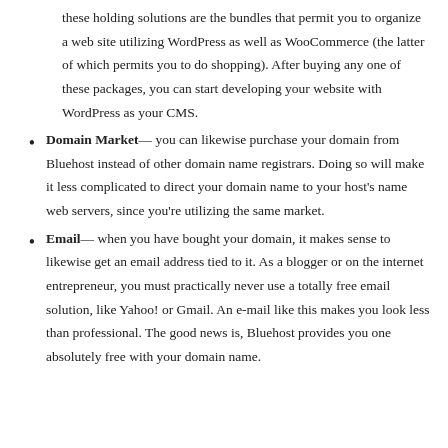these holding solutions are the bundles that permit you to organize a web site utilizing WordPress as well as WooCommerce (the latter of which permits you to do shopping). After buying any one of these packages, you can start developing your website with WordPress as your CMS.
Domain Market— you can likewise purchase your domain from Bluehost instead of other domain name registrars. Doing so will make it less complicated to direct your domain name to your host's name web servers, since you're utilizing the same market.
Email— when you have bought your domain, it makes sense to likewise get an email address tied to it. As a blogger or on the internet entrepreneur, you must practically never use a totally free email solution, like Yahoo! or Gmail. An e-mail like this makes you look less than professional. The good news is, Bluehost provides you one absolutely free with your domain name.